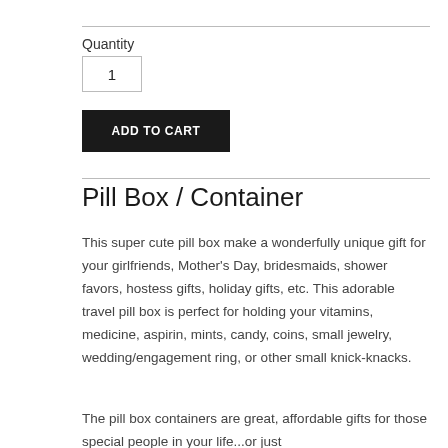Quantity
1
ADD TO CART
Pill Box / Container
This super cute pill box make a wonderfully unique gift for your girlfriends, Mother's Day, bridesmaids, shower favors, hostess gifts, holiday gifts, etc. This adorable travel pill box is perfect for holding your vitamins, medicine, aspirin, mints, candy, coins, small jewelry, wedding/engagement ring, or other small knick-knacks.
The pill box containers are great, affordable gifts for those special people in your life...or just